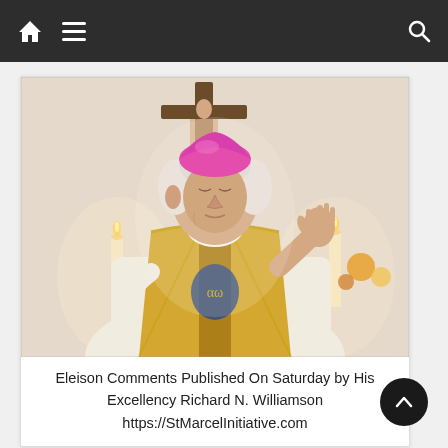Navigation bar with home, menu, and search icons
[Figure (photo): A Catholic bishop in white and gold vestments with a pink zucchetto (skullcap), standing before a crucifix on a wall, with candles visible on either side, appearing to be celebrating Mass.]
Eleison Comments Published On Saturday by His Excellency Richard N. Williamson https://StMarcelInitiative.com